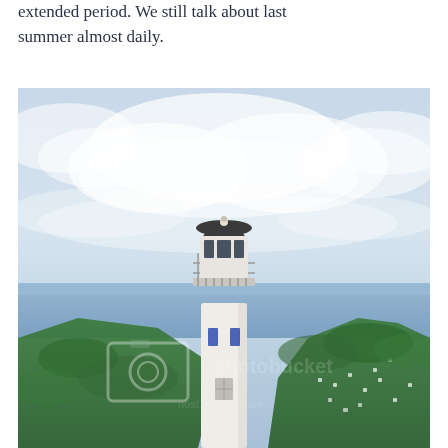extended period. We still talk about last summer almost daily.
[Figure (photo): A white cylindrical lighthouse tower photographed from above/aerial perspective, set against a pale blue cloudy sky, with green forested mountains and a coastal town visible in the background. A Photobucket watermark overlay is present on the image.]